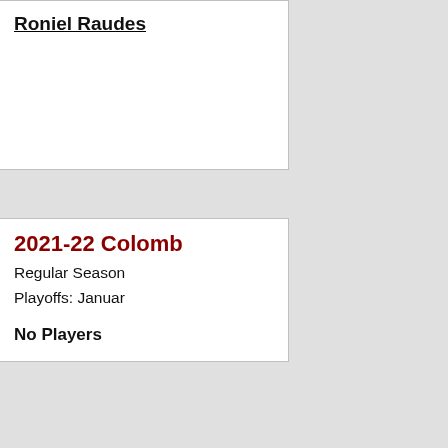Roniel Raudes
2021-22 Colomb
Regular Season
Playoffs: Januar
No Players
2021-22 Austral
2021-22 Season
2022 Caribbean
January 28 - Feb
No Players